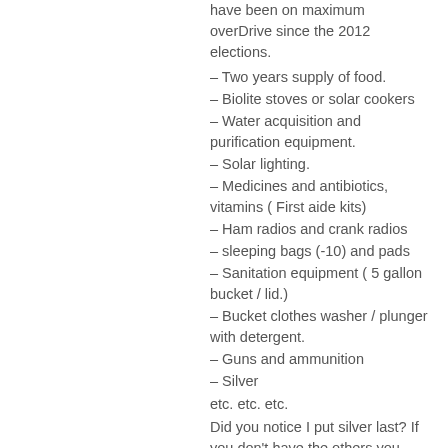have been on maximum overDrive since the 2012 elections.
– Two years supply of food.
– Biolite stoves or solar cookers
– Water acquisition and purification equipment.
– Solar lighting.
– Medicines and antibiotics, vitamins ( First aide kits)
– Ham radios and crank radios
– sleeping bags (-10) and pads
– Sanitation equipment ( 5 gallon bucket / lid.)
– Bucket clothes washer / plunger with detergent.
– Guns and ammunition
– Silver
etc. etc. etc.
Did you notice I put silver last? If you don't have the others you won't need it. Silver will only help you on the other side of the reset. I hope this